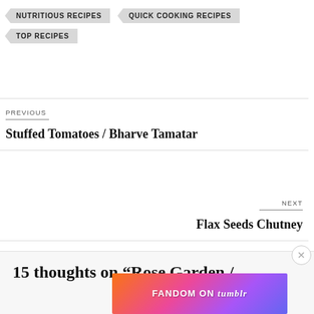NUTRITIOUS RECIPES
QUICK COOKING RECIPES
TOP RECIPES
PREVIOUS
Stuffed Tomatoes / Bharve Tamatar
NEXT
Flax Seeds Chutney
15 thoughts on “Rose Garden /
Advertisements
[Figure (infographic): Fandom on Tumblr colorful advertisement banner with orange to purple gradient background]